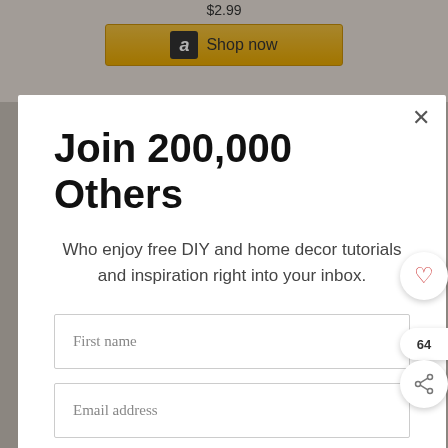[Figure (screenshot): Background page showing Amazon product listing with $2.99 price and Shop now button, partially visible behind modal overlay]
Join 200,000 Others
Who enjoy free DIY and home decor tutorials and inspiration right into your inbox.
First name
Email address
Subscribe